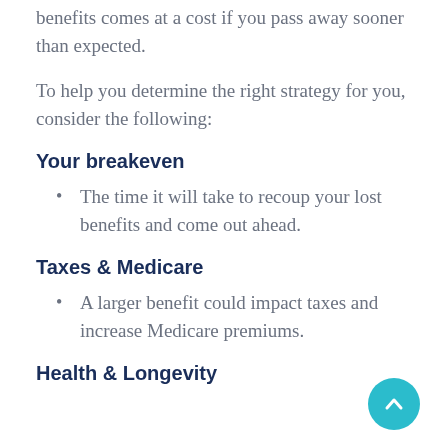benefits comes at a cost if you pass away sooner than expected.
To help you determine the right strategy for you, consider the following:
Your breakeven
The time it will take to recoup your lost benefits and come out ahead.
Taxes & Medicare
A larger benefit could impact taxes and increase Medicare premiums.
Health & Longevity